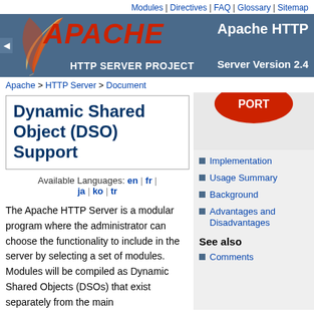Modules | Directives | FAQ | Glossary | Sitemap
[Figure (logo): Apache HTTP Server Project banner with feather logo, red APACHE text, and dark blue background showing 'Apache HTTP Server Version 2.4']
Apache > HTTP Server > Document
Dynamic Shared Object (DSO) Support
Available Languages: en | fr | ja | ko | tr
Implementation
Usage Summary
Background
Advantages and Disadvantages
See also
Comments
The Apache HTTP Server is a modular program where the administrator can choose the functionality to include in the server by selecting a set of modules. Modules will be compiled as Dynamic Shared Objects (DSOs) that exist separately from the main